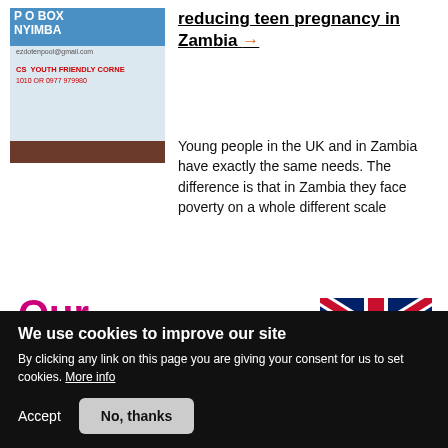[Figure (photo): Photo of a youth-friendly corner noticeboard showing P O BOX, NYIMBA, email address, and YOUTH FRIENDLY CORNER text with a dark wooden bottom bar]
reducing teen pregnancy in Zambia →
Young people in the UK and in Zambia have exactly the same needs. The difference is that in Zambia they face poverty on a whole different scale
Our
[Figure (illustration): UK flag (Union Jack)]
We use cookies to improve our site
By clicking any link on this page you are giving your consent for us to set cookies. More info
Accept   No, thanks